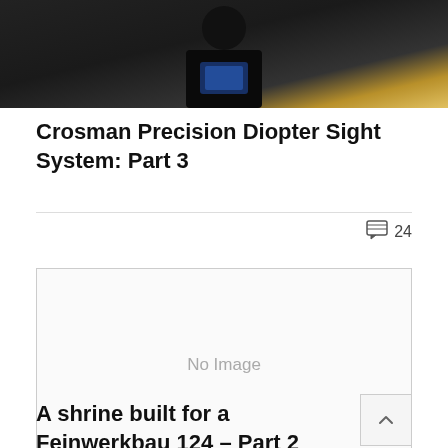[Figure (photo): Dark silhouette of a person photographed outdoors with warm golden backlight]
Crosman Precision Diopter Sight System: Part 3
💬 24
[Figure (photo): No Image placeholder box]
A shrine built for a Feinwerkbau 124 – Part 2